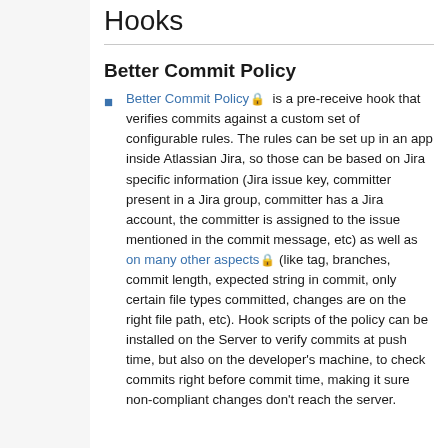Hooks
Better Commit Policy
Better Commit Policy 🔒 is a pre-receive hook that verifies commits against a custom set of configurable rules. The rules can be set up in an app inside Atlassian Jira, so those can be based on Jira specific information (Jira issue key, committer present in a Jira group, committer has a Jira account, the committer is assigned to the issue mentioned in the commit message, etc) as well as on many other aspects 🔒 (like tag, branches, commit length, expected string in commit, only certain file types committed, changes are on the right file path, etc). Hook scripts of the policy can be installed on the Server to verify commits at push time, but also on the developer's machine, to check commits right before commit time, making it sure non-compliant changes don't reach the server.